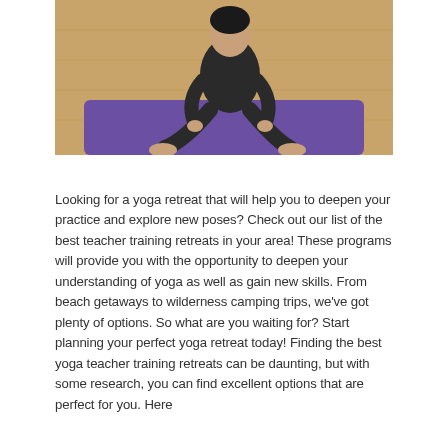[Figure (photo): A person in dark athletic wear sitting in a yoga pose on a purple yoga mat on a wooden floor, viewed from above/side angle. The image is cropped showing the lower portion of the scene.]
Looking for a yoga retreat that will help you to deepen your practice and explore new poses? Check out our list of the best teacher training retreats in your area! These programs will provide you with the opportunity to deepen your understanding of yoga as well as gain new skills. From beach getaways to wilderness camping trips, we've got plenty of options. So what are you waiting for? Start planning your perfect yoga retreat today! Finding the best yoga teacher training retreats can be daunting, but with some research, you can find excellent options that are perfect for you. Here